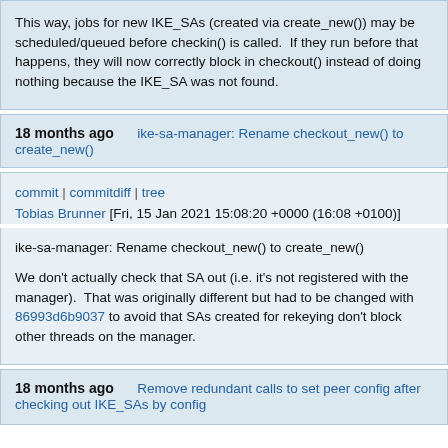This way, jobs for new IKE_SAs (created via create_new()) may be scheduled/queued before checkin() is called.  If they run before that happens, they will now correctly block in checkout() instead of doing nothing because the IKE_SA was not found.
18 months ago   ike-sa-manager: Rename checkout_new() to create_new()
commit | commitdiff | tree
Tobias Brunner [Fri, 15 Jan 2021 15:08:20 +0000 (16:08 +0100)]
ike-sa-manager: Rename checkout_new() to create_new()

We don't actually check that SA out (i.e. it's not registered with the manager).  That was originally different but had to be changed with 86993d6b9037 to avoid that SAs created for rekeying don't block other threads on the manager.
18 months ago   Remove redundant calls to set peer config after checking out IKE_SAs by config